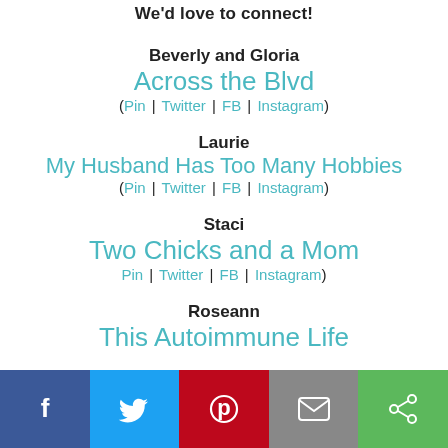We'd love to connect!
Beverly and Gloria
Across the Blvd
(Pin | Twitter | FB | Instagram)
Laurie
My Husband Has Too Many Hobbies
(Pin | Twitter | FB | Instagram)
Staci
Two Chicks and a Mom
Pin | Twitter | FB | Instagram)
Roseann
This Autoimmune Life
Facebook | Twitter | Pinterest | Email | Share